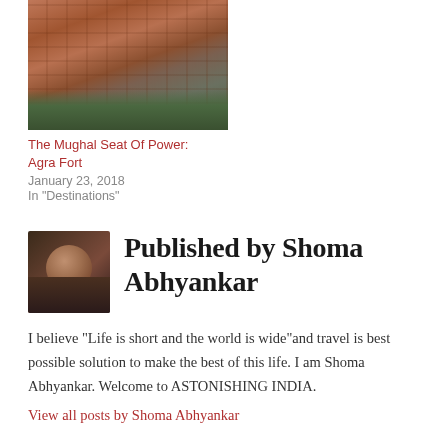[Figure (photo): Photo of Agra Fort red sandstone architecture with green foliage below]
The Mughal Seat Of Power: Agra Fort
January 23, 2018
In "Destinations"
[Figure (photo): Author avatar photo of Shoma Abhyankar wearing sunglasses]
Published by Shoma Abhyankar
I believe "Life is short and the world is wide"and travel is best possible solution to make the best of this life. I am Shoma Abhyankar. Welcome to ASTONISHING INDIA.
View all posts by Shoma Abhyankar